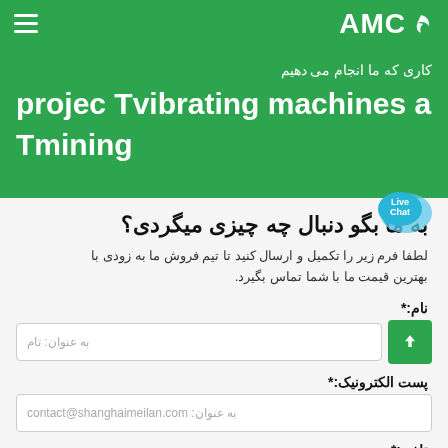AMC
کاری که ما انجام می دهیم
projec Tvibrating machines a Tmining
به ما بگو دنبال چه چیزی میگردی؟
لطفا فرم زیر را تکمیل و ارسال کنید تا تیم فروش ما به زودی با بهترین قیمت ما با شما تماس بگیرد.
نام:*
به عنوان: تام
پست الکترونیک:*
به عنوان: contact@shanghaimeilan.com
تلفن:*